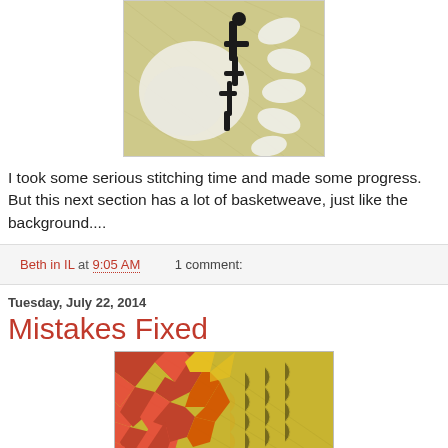[Figure (photo): Closeup photo of needlepoint canvas with black and white stitching on a beige/tan mesh background.]
I took some serious stitching time and made some progress. But this next section has a lot of basketweave, just like the background....
Beth in IL at 9:05 AM    1 comment:
Tuesday, July 22, 2014
Mistakes Fixed
[Figure (photo): Closeup photo of needlepoint canvas showing red and yellow/orange stitching on a yellow-green canvas background.]